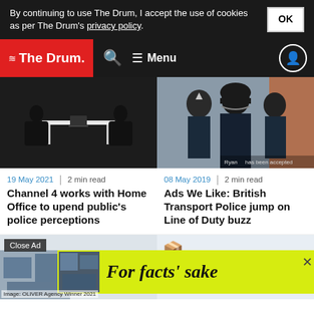By continuing to use The Drum, I accept the use of cookies as per The Drum's privacy policy.
The Drum — Menu
[Figure (photo): Dark interrogation room scene with two people sitting at a white table]
19 May 2021  |  2 min read
Channel 4 works with Home Office to upend public's police perceptions
[Figure (photo): British Transport Police officers in uniform with helmets, standing in a row]
08 May 2019  |  2 min read
Ads We Like: British Transport Police jump on Line of Duty buzz
Close Ad
[Figure (photo): Advertisement banner: For facts' sake — yellow background with italic text]
Image: OLIVER Agency Winner 2021
police siren
read